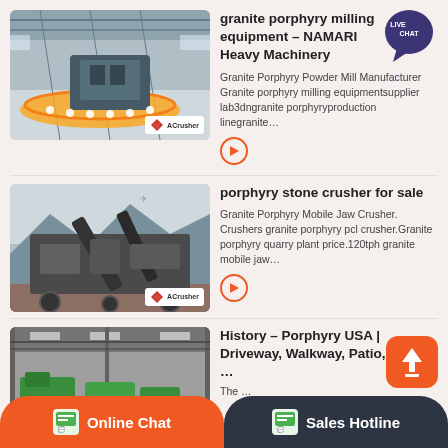[Figure (photo): Industrial granite milling machine interior with yellow circular conveyor, ACrusher logo overlay]
granite porphyry milling equipment – NAMARI Heavy Machinery
Granite Porphyry Powder Mill Manufacturer Granite porphyry milling equipmentsupplier lab3dngranite porphyryproduction linegranite…
[Figure (photo): Outdoor mining conveyors and crushing equipment on quarry site, ACrusher logo overlay]
porphyry stone crusher for sale
Granite Porphyry Mobile Jaw Crusher. Crushers granite porphyry pcl crusher.Granite porphyry quarry plant price.120tph granite mobile jaw…
[Figure (photo): Industrial warehouse with green machinery inside, partially visible]
History – Porphyry USA | Driveway, Walkway, Patio, Stone …
The …